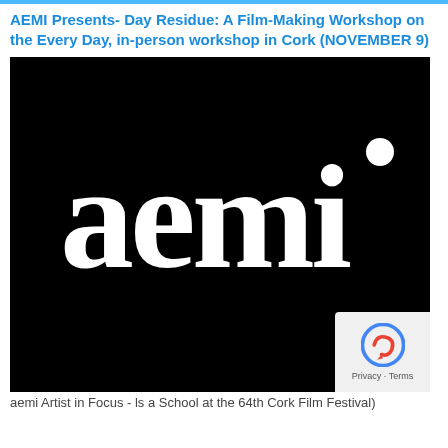AEMI Presents- Day Residue: A Film-Making Workshop on the Every Day, in-person workshop in Cork (NOVEMBER 9)
[Figure (logo): AEMI logo — white bold lowercase serif text 'aemi' on a black background, with a white circular dot above the letter 'i']
aemi Artist in Focus - Is a School at the 64th Cork Film Festival)